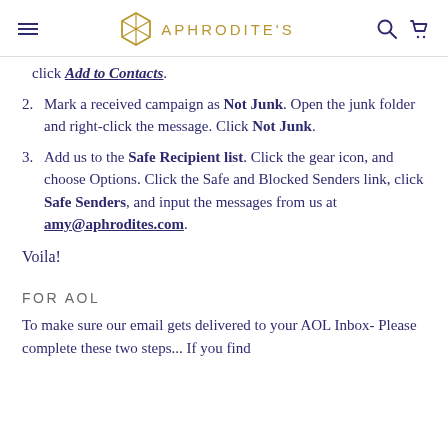APHRODITE'S
click Add to Contacts.
2. Mark a received campaign as Not Junk. Open the junk folder and right-click the message. Click Not Junk.
3. Add us to the Safe Recipient list. Click the gear icon, and choose Options. Click the Safe and Blocked Senders link, click Safe Senders, and input the messages from us at amy@aphrodites.com.
Voila!
FOR AOL
To make sure our email gets delivered to your AOL Inbox- Please complete these two steps... If you find